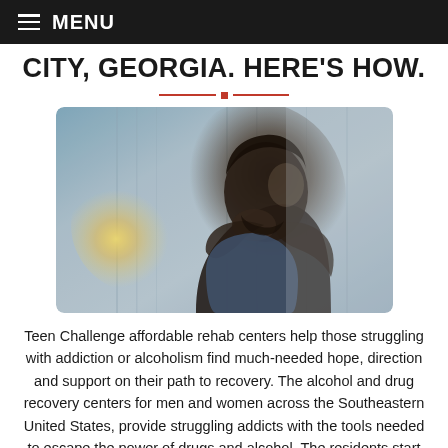MENU
CITY, GEORGIA. HERE'S HOW.
[Figure (photo): A bearded man sitting with his hands clasped together near his face, looking distressed or contemplative, with a blurred background suggesting an urban or industrial setting with a light flare on the left side.]
Teen Challenge affordable rehab centers help those struggling with addiction or alcoholism find much-needed hope, direction and support on their path to recovery. The alcohol and drug recovery centers for men and women across the Southeastern United States, provide struggling addicts with the tools needed to escape the power of drugs and alcohol. The residents start